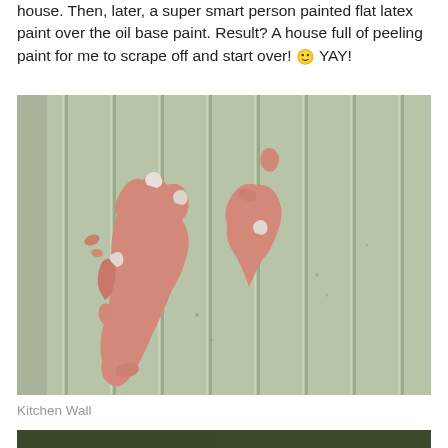house.  Then, later, a super smart person painted flat latex paint over the oil base paint.  Result?  A house full of peeling paint for me to scrape off and start over! 🙂  YAY!
[Figure (photo): Photo of a light green beadboard wall with large patches of peeling paint revealing pink/salmon color underneath]
Kitchen Wall
[Figure (photo): Partial view of another photo at the bottom of the page, appears to show dark green surface]